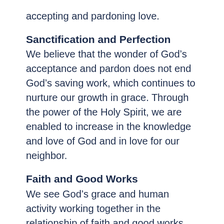accepting and pardoning love.
Sanctification and Perfection
We believe that the wonder of God’s acceptance and pardon does not end God’s saving work, which continues to nurture our growth in grace. Through the power of the Holy Spirit, we are enabled to increase in the knowledge and love of God and in love for our neighbor.
Faith and Good Works
We see God’s grace and human activity working together in the relationship of faith and good works.  God’s grace calls forth human response and discipline. Faith is the only response essential for salvation, but